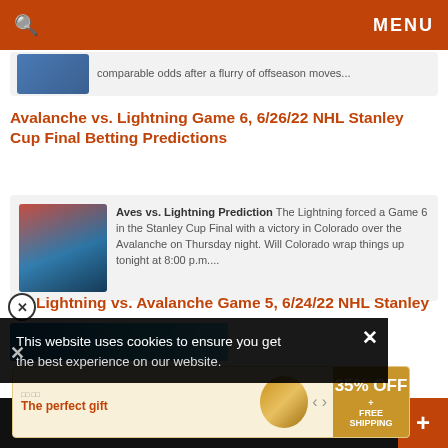Search | MENU
comparable odds after a flurry of offseason moves...
Avalanche vs. Lightning Game 6, 6/26/22 NHL Stanley Cup Final Betting Predictions
Aves vs. Lightning Prediction The Lightning forced a Game 6 in the Stanley Cup Final with a victory in Colorado over the Avalanche on Thursday night. Will Colorado wrap things up tonight at 8:00 p.m....
Lightning vs. Avalanche Game 5, 6/24/22 NHL Stanley
This website uses cookies to ensure you get the best experience on our website.
[Figure (infographic): Advertisement banner: The perfect gift with bowl product image, 35% OFF + FREE SHIPPING offer]
Social share and navigation bar at bottom